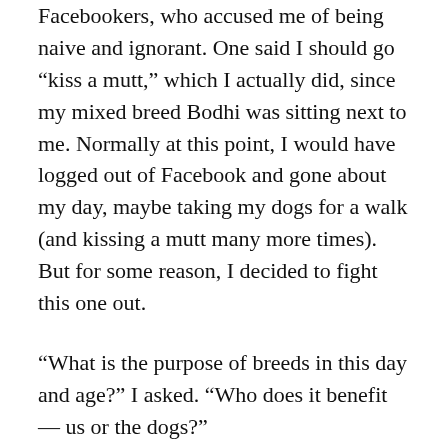Facebookers, who accused me of being naive and ignorant. One said I should go “kiss a mutt,” which I actually did, since my mixed breed Bodhi was sitting next to me. Normally at this point, I would have logged out of Facebook and gone about my day, maybe taking my dogs for a walk (and kissing a mutt many more times). But for some reason, I decided to fight this one out.
“What is the purpose of breeds in this day and age?” I asked. “Who does it benefit — us or the dogs?”
I continued: “Genetically manipulating dogs for profit to serve the whims and pleasures of humans is a selfish and anthropocentric thing